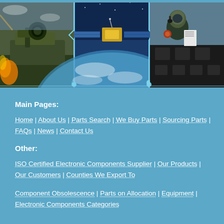[Figure (photo): Three-panel photo strip showing military hardware (missile launcher/tank), a satellite in orbit over Earth, and an aircraft cockpit with pilot]
Main Pages:
Home | About Us | Parts Search | We Buy Parts | Sourcing Parts | FAQs | News | Contact Us
Other:
ISO Certified Electronic Components Supplier | Our Products | Our Customers | Counties We Export To
Component Obsolescence | Parts on Allocation | Equipment | Electronic Components Categories